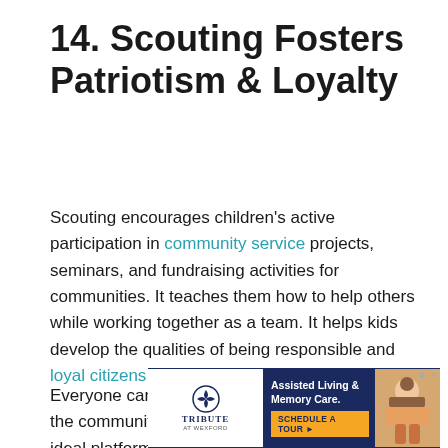14. Scouting Fosters Patriotism & Loyalty
Scouting encourages children's active participation in community service projects, seminars, and fundraising activities for communities. It teaches them how to help others while working together as a team. It helps kids develop the qualities of being responsible and loyal citizens of their communities.
Everyone can do something for their country or the community around them. Scouting offers the ideal platform to introduce kids to such activities. It helps children develop a sense of responsibility and pride as
[Figure (other): Advertisement banner for Tribute at Wexford Assisted Living & Memory Care. Shows logo on white left panel, blue center with text 'Assisted Living & Memory Care. SCHEDULE A TOUR ▸', and photo of a child on right.]